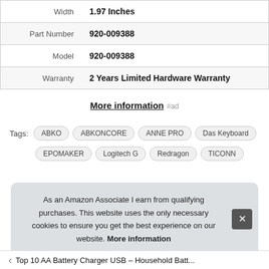|  |  |
| --- | --- |
| Width | 1.97 Inches |
| Part Number | 920-009388 |
| Model | 920-009388 |
| Warranty | 2 Years Limited Hardware Warranty |
More information #ad
Tags: ABKO ABKONCORE ANNE PRO Das Keyboard EPOMAKER Logitech G Redragon TICONN
As an Amazon Associate I earn from qualifying purchases. This website uses the only necessary cookies to ensure you get the best experience on our website. More information
Top 10 AA Battery Charger USB – Household Batt...